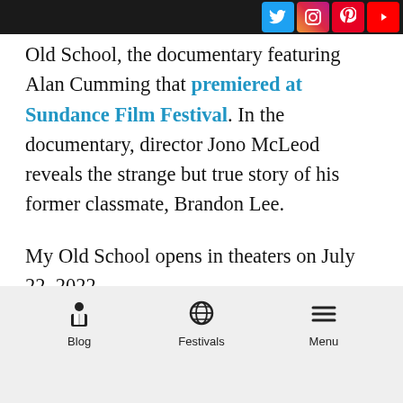Magnolia Pictures debuted the [social icons] Old School, the documentary featuring Alan Cumming that premiered at Sundance Film Festival. In the documentary, director Jono McLeod reveals the strange but true story of his former classmate, Brandon Lee.
My Old School opens in theaters on July 22, 2022.
In 1993, 16-year-old Brandon Lee enrolled at Bearsden Academy, a secondary school in a well-to-do suburb of Glasgow, Scotland. What followed over the next two years would become the stuff of
Blog | Festivals | Menu